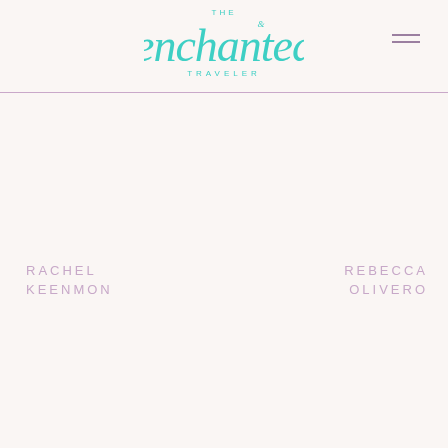THE enchanted TRAVELER
RACHEL KEENMON
REBECCA OLIVERO